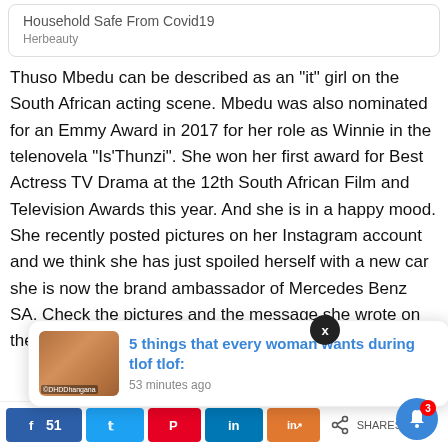Household Safe From Covid19
Herbeauty
Thuso Mbedu can be described as an “it” girl on the South African acting scene. Mbedu was also nominated for an Emmy Award in 2017 for her role as Winnie in the telenovela “Is’Thunzi”. She won her first award for Best Actress TV Drama at the 12th South African Film and Television Awards this year. And she is in a happy mood. She recently posted pictures on her Instagram account and we think she has just spoiled herself with a new car she is now the brand ambassador of Mercedes Benz SA. Check the pictures and the message she wrote on the pictures…
[Figure (screenshot): Popup notification card showing: '5 things that every woman wants during tlof tlof:' with timestamp '53 minutes ago' and a thumbnail image]
xperience. We’ll out if you wish
51 [Facebook share] [Twitter share] [Pinterest share] [LinkedIn share] [LinkedIn share] [Share icon] SHARES